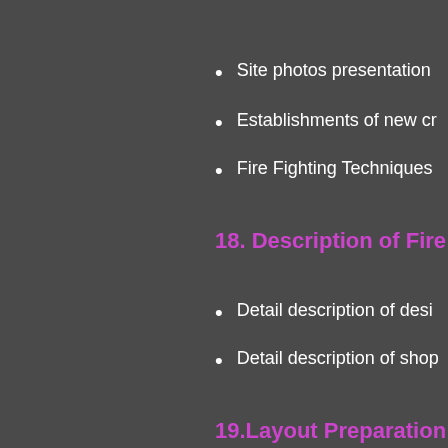Site photos presentation
Establishments of new cr
Fire Fighting Techniques
18. Description of Fire F
Detail description of desi
Detail description of shop
19.Layout Preparation f
Design drawing preparati
Shop drawing preparatio
20. General Drawing Pr